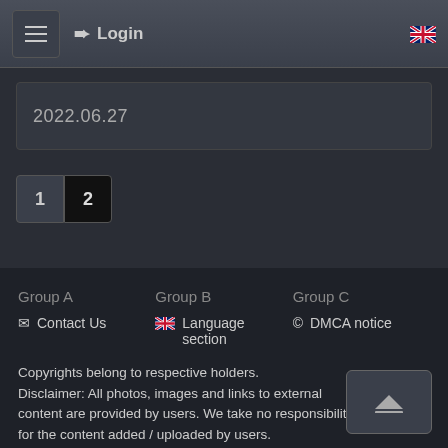Login
2022.06.27
1  2
Group A
Group B
Group C
Contact Us
Language section
DMCA notice
Copyrights belong to respective holders. Disclaimer: All photos, images and links to external content are provided by users. We take no responsibility for the content added / uploaded by users.